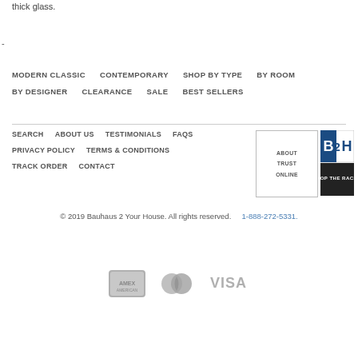thick glass.
-
MODERN CLASSIC   CONTEMPORARY   SHOP BY TYPE   BY ROOM   BY DESIGNER   CLEARANCE   SALE   BEST SELLERS
SEARCH   ABOUT US   TESTIMONIALS   FAQS   PRIVACY POLICY   TERMS & CONDITIONS   TRACK ORDER   CONTACT
[Figure (other): About Trust Online badge box]
[Figure (logo): B2H / Top The Rack logo badge]
© 2019 Bauhaus 2 Your House. All rights reserved.    1-888-272-5331.
[Figure (other): Payment method icons: American Express, Mastercard, Visa]